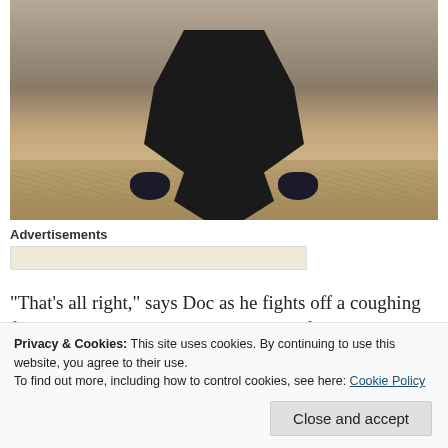[Figure (photo): A person dressed in dark clothing crouched down close to the ground in a rural outdoor setting with hay/straw on the ground and a fence visible in the background.]
Advertisements
“That’s all right,” says Doc as he fights off a coughing fit. “This stops.” But Wyatt’s mission of vengeance won’t.
Privacy & Cookies: This site uses cookies. By continuing to use this website, you agree to their use.
To find out more, including how to control cookies, see here: Cookie Policy
Close and accept